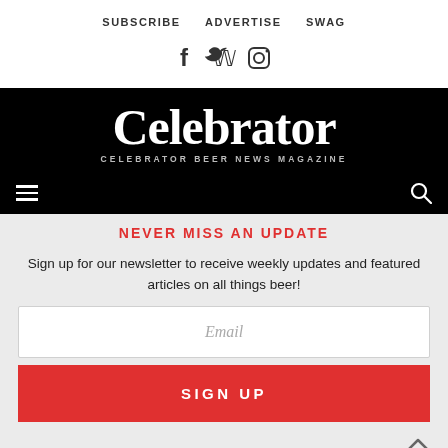SUBSCRIBE   ADVERTISE   SWAG
[Figure (other): Social media icons: Facebook, Twitter, Instagram]
[Figure (logo): Celebrator Beer News Magazine logo on black background with hamburger menu and search icon]
NEVER MISS AN UPDATE
Sign up for our newsletter to receive weekly updates and featured articles on all things beer!
Email (input field placeholder)
SIGN UP